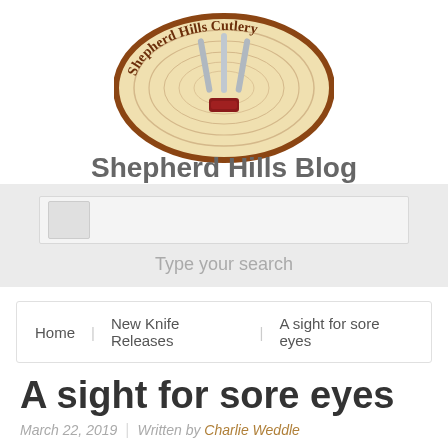[Figure (logo): Shepherd Hills Cutlery oval wood-grain logo with knives]
Shepherd Hills Blog
[Figure (screenshot): Search bar with placeholder text 'Type your search']
Type your search
Home   New Knife Releases   A sight for sore eyes
A sight for sore eyes
March 22, 2019  |  Written by Charlie Weddle